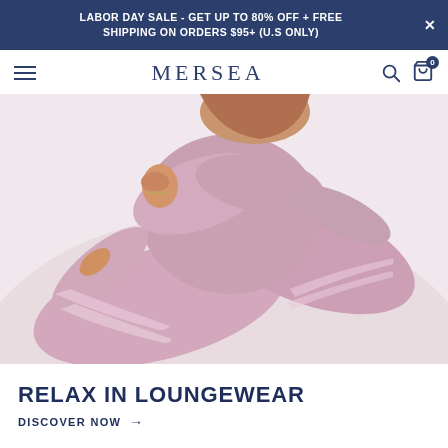LABOR DAY SALE - GET UP TO 80% OFF + FREE SHIPPING ON ORDERS $95+ (U.S ONLY)
MERSEA
[Figure (photo): Woman wearing pink/mauve loungewear set (long sleeve top and wide leg pants), seated with knees pulled up, arms crossed, against a light background. Pants have a satin stripe detail.]
RELAX IN LOUNGEWEAR
DISCOVER NOW →